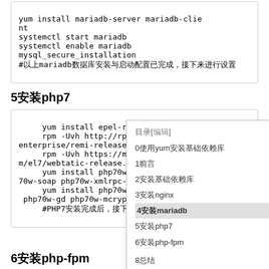yum install mariadb-server mariadb-client
systemctl start mariadb
systemctl enable mariadb
mysql_secure_installation
#以上mariadb安装与启动配置已完成，接下来进行设置
5安装php7
yum install epel-release
rpm -Uvh http://rpms.famillecollet.com/enterprise/remi-release-7.rpm
rpm -Uvh https://mirror.webtatic.com/yum/el7/webtatic-release.rpm
yum install php70w-mysql php70w-xml php70w-soap php70w-xmlrpc-*
yum install php70w-mbstring php70w-json php70w-gd php70w-mcrypt
#PHP7安装完成，接下来进行设置
[Figure (screenshot): Table of contents overlay showing: 目录[编辑], 0使用yum安装基础依赖库, 1前言, 2安装基础依赖库, 3安装nginx, 4安装mariadb (highlighted), 5安装php7, 6安装php-fpm, 8总结]
6安装php-fpm